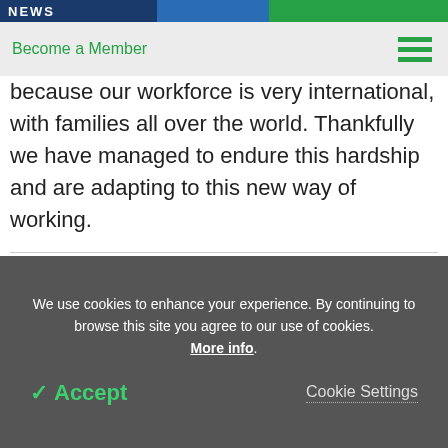NEWS
Become a Member
because our workforce is very international, with families all over the world. Thankfully we have managed to endure this hardship and are adapting to this new way of working.
Related Stories
Sino Biological Deposits Recombinant Omicron Proteins and Antibodies to BEI Resources
We use cookies to enhance your experience. By continuing to browse this site you agree to our use of cookies. More info.
✓ Accept
Cookie Settings